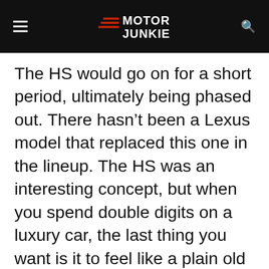Motor Junkie
The HS would go on for a short period, ultimately being phased out. There hasn't been a Lexus model that replaced this one in the lineup. The HS was an interesting concept, but when you spend double digits on a luxury car, the last thing you want is it to feel like a plain old Corolla.
Advertisement
[Figure (other): Advertisement banner for Rollic game 'They Are Coming!' with Ad badge, decorative left image, purple Rollic logo in center, and Download button on right.]